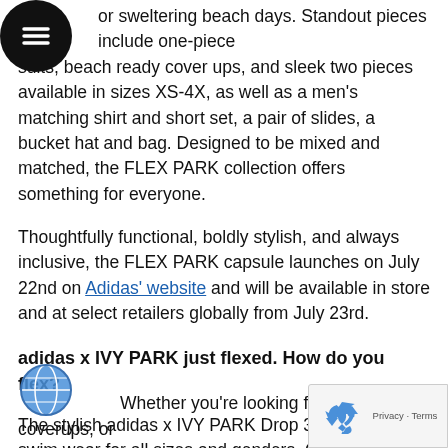[Figure (other): Circular black hamburger menu icon (three horizontal lines on black circle background)]
or sweltering beach days. Standout pieces include one-piece suits, beach ready cover ups, and sleek two pieces available in sizes XS-4X, as well as a men's matching shirt and short set, a pair of slides, a bucket hat and bag. Designed to be mixed and matched, the FLEX PARK collection offers something for everyone.
Thoughtfully functional, boldly stylish, and always inclusive, the FLEX PARK capsule launches on July 22nd on Adidas' website and will be available in store and at select retailers globally from July 23rd.
adidas x IVY PARK just flexed. How do you flex?
The stylish adidas x IVY PARK Drop 3.5 includes swim wear for all sizes and genders. Clothing sizes range from XS-XL / 1X-4X
[Figure (illustration): Blue globe / earth icon]
Whether you're looking for bathing suits, coverups, or
[Figure (other): reCAPTCHA widget overlay showing recycling arrows logo and 'Privacy - Terms' text]